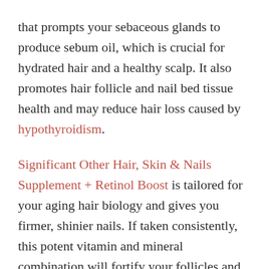that prompts your sebaceous glands to produce sebum oil, which is crucial for hydrated hair and a healthy scalp. It also promotes hair follicle and nail bed tissue health and may reduce hair loss caused by hypothyroidism.
Significant Other Hair, Skin & Nails Supplement + Retinol Boost is tailored for your aging hair biology and gives you firmer, shinier nails. If taken consistently, this potent vitamin and mineral combination will fortify your follicles and nail matrix so they become healthier and more durable.